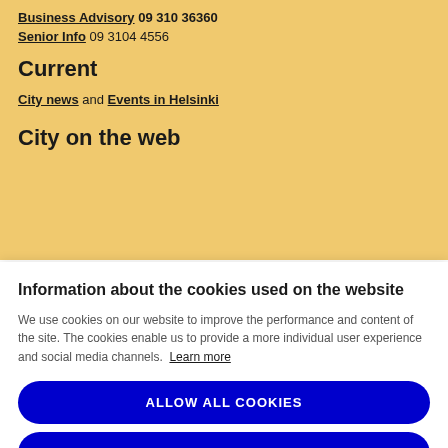Business Advisory 09 310 36360
Senior Info 09 3104 4556
Current
City news and Events in Helsinki
City on the web
Information about the cookies used on the website
We use cookies on our website to improve the performance and content of the site. The cookies enable us to provide a more individual user experience and social media channels. Learn more
ALLOW ALL COOKIES
ALLOW ESSENTIAL COOKIES ONLY
COOKIE SETTINGS